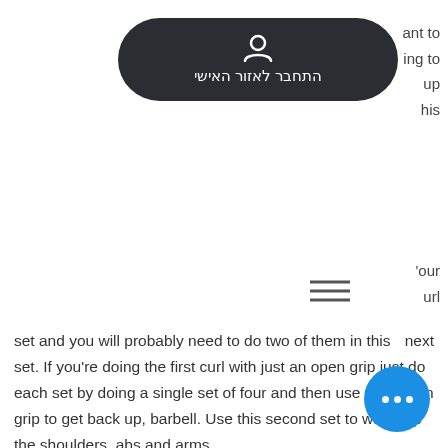[Figure (other): Dark rounded button with person icon and Hebrew text 'התחבר לאזור האישי' (Connect to personal area)]
ant to
ing to
up
his
[Figure (other): Hamburger menu icon (three horizontal lines)]
'our
url
next set and you will probably need to do two of them in this set. If you're doing the first curl with just an open grip just do each set by doing a single set of four and then use your open grip to get back up, barbell. Use this second set to warm up the shoulders, abs and arms.
The set-up is going to be a little tricky when you're doing them as you will be using hands to keep this grip, bulking cycle p So first, here are the grip positions and how